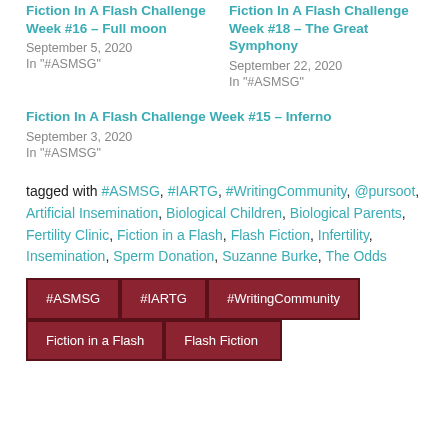Fiction In A Flash Challenge Week #16 – Full moon
September 5, 2020
In "#ASMSG"
Fiction In A Flash Challenge Week #18 – The Great Symphony
September 22, 2020
In "#ASMSG"
Fiction In A Flash Challenge Week #15 – Inferno
September 3, 2020
In "#ASMSG"
tagged with #ASMSG, #IARTG, #WritingCommunity, @pursoot, Artificial Insemination, Biological Children, Biological Parents, Fertility Clinic, Fiction in a Flash, Flash Fiction, Infertility, Insemination, Sperm Donation, Suzanne Burke, The Odds
#ASMSG
#IARTG
#WritingCommunity
Fiction in a Flash
Flash Fiction